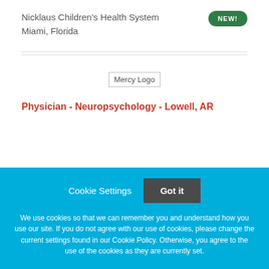Nicklaus Children's Health System
Miami, Florida
[Figure (logo): Mercy Logo placeholder image]
Physician - Neuropsychology - Lowell, AR
Cookie Settings  Got it
We use cookies so that we can remember you and understand how you use our site. If you do not agree with our use of cookies, please change the current settings found in our Cookie Policy. Otherwise, you agree to the use of the cookies as they are currently set.